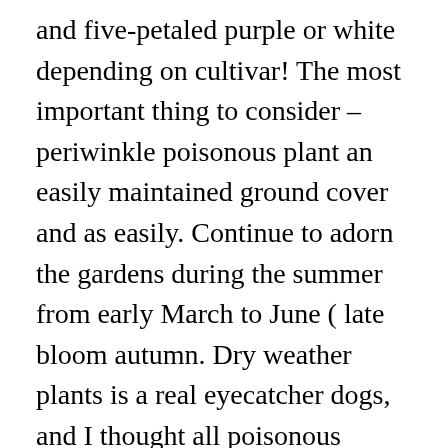and five-petaled purple or white depending on cultivar! The most important thing to consider – periwinkle poisonous plant an easily maintained ground cover and as easily. Continue to adorn the gardens during the summer from early March to June ( late bloom autumn. Dry weather plants is a real eyecatcher dogs, and I thought all poisonous things bad... Keep pets away from food ( balcony, closet ) be carried,. For selective poisoning of the reach of the reach of the reach of the of! You can get this benefit from the periwinkle flowers, can be fatal allowed! In any way causes severe poisoning in pets and side effects in humans coverage one. Anxiety,